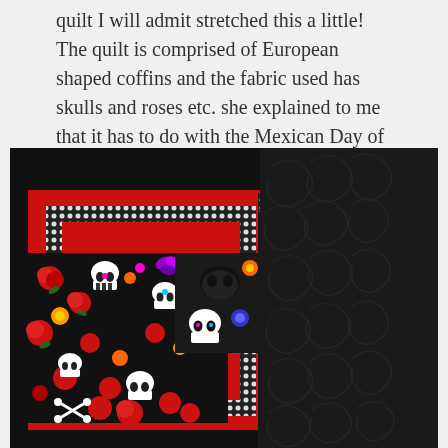quilt I will admit stretched this a little! The quilt is comprised of European shaped coffins and the fabric used has skulls and roses etc. she explained to me that it has to do with the Mexican Day of the Dead...
[Figure (photo): A quilt featuring Day of the Dead themed fabric with skulls and roses in black, red and colorful patterns. The quilt has a black quilted back visible on the right side with swirl quilting pattern, red border strips, black and white dotted border strips, and colorful skull-and-roses fabric panels in the center-left area.]